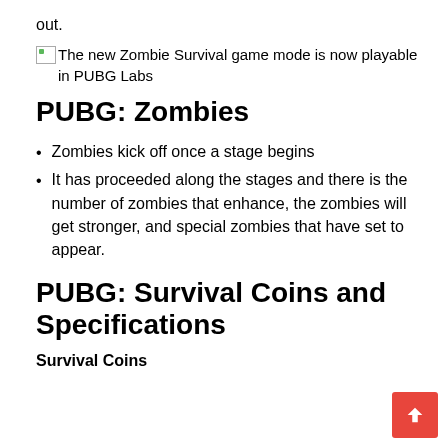out.
[Figure (other): Broken image placeholder with alt text: The new Zombie Survival game mode is now playable in PUBG Labs]
PUBG: Zombies
Zombies kick off once a stage begins
It has proceeded along the stages and there is the number of zombies that enhance, the zombies will get stronger, and special zombies that have set to appear.
PUBG: Survival Coins and Specifications
Survival Coins